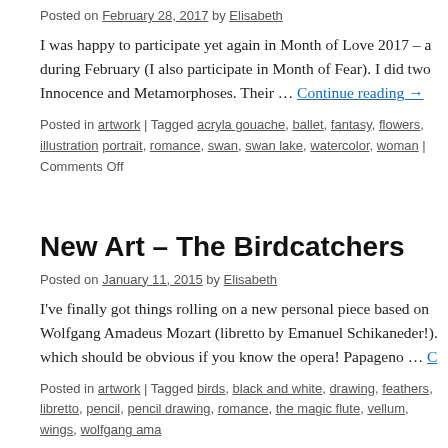Posted on February 28, 2017 by Elisabeth
I was happy to participate yet again in Month of Love 2017 – a during February (I also participate in Month of Fear). I did two Innocence and Metamorphoses. Their … Continue reading →
Posted in artwork | Tagged acryla gouache, ballet, fantasy, flowers, illustration portrait, romance, swan, swan lake, watercolor, woman | Comments Off
New Art – The Birdcatchers
Posted on January 11, 2015 by Elisabeth
I've finally got things rolling on a new personal piece based on Wolfgang Amadeus Mozart (libretto by Emanuel Schikaneder!). which should be obvious if you know the opera! Papageno … C
Posted in artwork | Tagged birds, black and white, drawing, feathers, libretto, pencil, pencil drawing, romance, the magic flute, vellum, wings, wolfgang ama